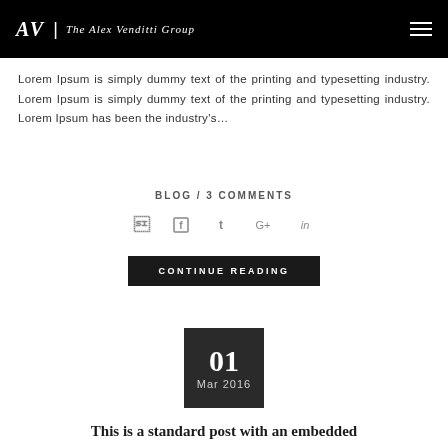AV | The Alex Venditti Group
Lorem Ipsum is simply dummy text of the printing and typesetting industry. Lorem Ipsum is simply dummy text of the printing and typesetting industry. Lorem Ipsum has been the industry's...
BLOG / 3 COMMENTS
[Figure (infographic): Social media icons: Facebook, Twitter, Google+, LinkedIn]
CONTINUE READING
[Figure (infographic): Date box showing '01 Mar 2016' on dark background]
This is a standard post with an embedded